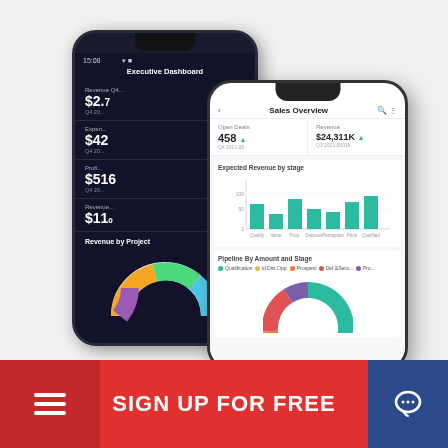[Figure (screenshot): Two smartphone mockups showing financial dashboard apps. The back phone (dark theme) shows an Executive Dashboard with Revenue Q4, Expenses, Profit, Revenue metrics and a Revenue by Project donut chart. The front phone (light theme) shows a Sales Overview screen with Open Deals (458) and Revenue ($24,311K) KPIs, an Expected Revenue by Stage bar chart, and a Pipeline By Amount and Stage donut chart.]
SIGN UP FOR FREE